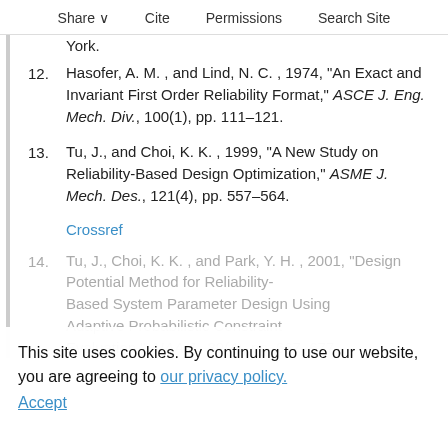Share   Cite   Permissions   Search Site
York.
12. Hasofer, A. M. , and Lind, N. C. , 1974, "An Exact and Invariant First Order Reliability Format," ASCE J. Eng. Mech. Div., 100(1), pp. 111–121.
13. Tu, J., and Choi, K. K. , 1999, "A New Study on Reliability-Based Design Optimization," ASME J. Mech. Des., 121(4), pp. 557–564.
Crossref
14. Tu, J., Choi, K. K. , and Park, Y. H. , 2001, "Design Potential Method for Reliability-Based System Parameter Design Using Adaptive Probabilistic Constraint Evaluation," AIAA J., 39(4), pp. 667–677.
This site uses cookies. By continuing to use our website, you are agreeing to our privacy policy. Accept